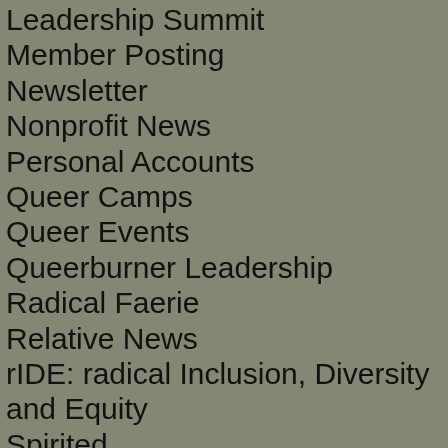Leadership Summit
Member Posting
Newsletter
Nonprofit News
Personal Accounts
Queer Camps
Queer Events
Queerburner Leadership
Radical Faerie
Relative News
rIDE: radical Inclusion, Diversity and Equity
Spirited
Ticketing Problem
Trip Report
x-post